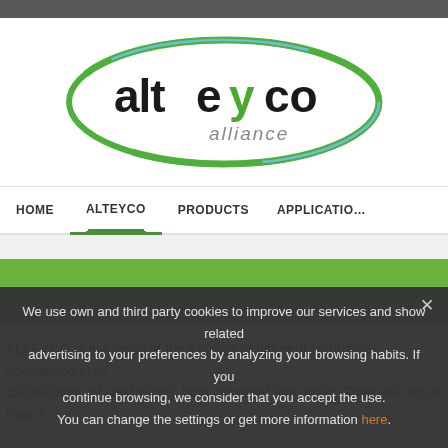[Figure (logo): Alteyco Alliance logo — green oval with 'alteyco' in bold black and a green 'y', with 'alliance' in grey underneath, surrounded by a green oval outline and a blue arc]
HOME   ALTEYCO   PRODUCTS   APPLICATIONS
ALTEYCO is the result of the Alliance of different companies specialized in m classification of solid waste, both industrial and urban. They also focus their a
We use own and third party cookies to improve our services and show related advertising to your preferences by analyzing your browsing habits. If you continue browsing, we consider that you accept the use. You can change the settings or get more information here.